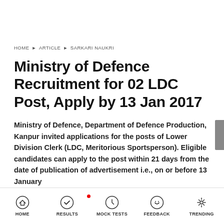HOME › ARTICLE › SARKARI NAUKRI
Ministry of Defence Recruitment for 02 LDC Post, Apply by 13 Jan 2017
Ministry of Defence, Department of Defence Production, Kanpur invited applications for the posts of Lower Division Clerk (LDC, Meritorious Sportsperson). Eligible candidates can apply to the post within 21 days from the date of publication of advertisement i.e., on or before 13 January
HOME  RESULTS  MOCK TESTS  FEEDBACK  TRENDING